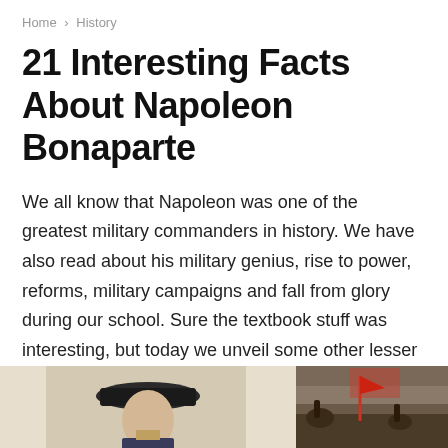Home › History
21 Interesting Facts About Napoleon Bonaparte
We all know that Napoleon was one of the greatest military commanders in history. We have also read about his military genius, rise to power, reforms, military campaigns and fall from glory during our school. Sure the textbook stuff was interesting, but today we unveil some other lesser known facts about the power-hungry conqueror. Here are some interesting facts about Napoleon Bonaparte which you may not be aware of:
[Figure (photo): Two historical images at the bottom of the page: a portrait of Napoleon Bonaparte in military uniform with his iconic hat on the left, and a battle scene painting on the right]